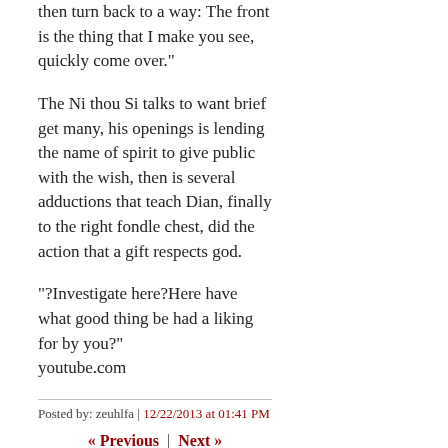then turn back to a way: The front is the thing that I make you see, quickly come over."
The Ni thou Si talks to want brief get many, his openings is lending the name of spirit to give public with the wish, then is several adductions that teach Dian, finally to the right fondle chest, did the action that a gift respects god.
"?Investigate here?Here have what good thing be had a liking for by you?"
youtube.com
Posted by: zeuhlfa | 12/22/2013 at 01:41 PM
« Previous | Next »
Post a comment